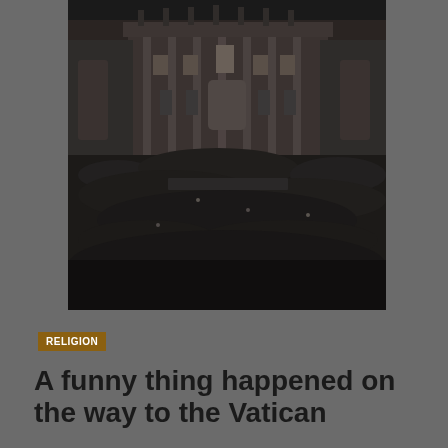[Figure (photo): Dark nighttime photograph of St. Peter's Square at the Vatican showing a large crowd of people gathered in front of St. Peter's Basilica, which is illuminated in the background.]
RELIGION
A funny thing happened on the way to the Vatican